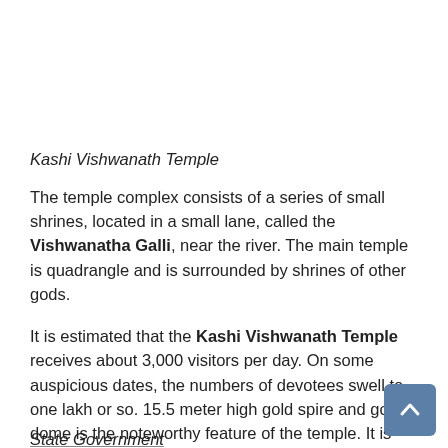Kashi Vishwanath Temple
The temple complex consists of a series of small shrines, located in a small lane, called the Vishwanatha Galli, near the river. The main temple is quadrangle and is surrounded by shrines of other gods.
It is estimated that the Kashi Vishwanath Temple receives about 3,000 visitors per day. On some auspicious dates, the numbers of devotees swell to one lakh or so. 15.5 meter high gold spire and gold dome is the noteworthy feature of the temple. It is believed by some that a visit to the temple and a bath in the river Ganga is one of the many methods said to lead one of the path of liberation or Moksha.
The historical Kashi Vishwnath Temple has been destroyed and re-created a number of times by many oppressers, including Mughal ruler Aurangzeb. Currently, the temple is being managed by the State Government.